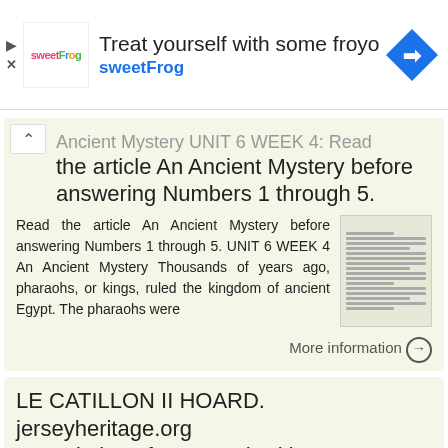[Figure (other): sweetFrog frozen yogurt advertisement banner with logo and navigation arrow icon]
Ancient Mystery UNIT 6 WEEK 4. Read the article An Ancient Mystery before answering Numbers 1 through 5.
Read the article An Ancient Mystery before answering Numbers 1 through 5. UNIT 6 WEEK 4 An Ancient Mystery Thousands of years ago, pharaohs, or kings, ruled the kingdom of ancient Egypt. The pharaohs were
More information →
LE CATILLON II HOARD. jerseyheritage.org Association of Jersey Charities, No. 161
LE CATILLON II HOARD CELTIC TRIBES This is a picture of the tribal structure of the Celtic Society. CELTIC TRIBES...